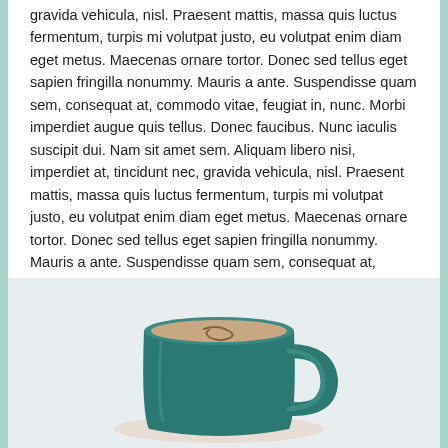gravida vehicula, nisl. Praesent mattis, massa quis luctus fermentum, turpis mi volutpat justo, eu volutpat enim diam eget metus. Maecenas ornare tortor. Donec sed tellus eget sapien fringilla nonummy. Mauris a ante. Suspendisse quam sem, consequat at, commodo vitae, feugiat in, nunc. Morbi imperdiet augue quis tellus. Donec faucibus. Nunc iaculis suscipit dui. Nam sit amet sem. Aliquam libero nisi, imperdiet at, tincidunt nec, gravida vehicula, nisl. Praesent mattis, massa quis luctus fermentum, turpis mi volutpat justo, eu volutpat enim diam eget metus. Maecenas ornare tortor. Donec sed tellus eget sapien fringilla nonummy. Mauris a ante. Suspendisse quam sem, consequat at, commodo vitae, feugiat in, nunc. Morbi imperdiet augue quis tellus.
[Figure (photo): A teal/dark green coffee or tea mug filled with a light brown beverage, sitting on a light gray/white surface. The mug has a handle on the right side.]